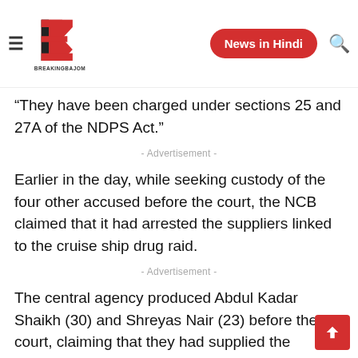BreakingBajom — News in Hindi
“They have been charged under sections 25 and 27A of the NDPS Act.”
- Advertisement -
Earlier in the day, while seeking custody of the four other accused before the court, the NCB claimed that it had arrested the suppliers linked to the cruise ship drug raid.
- Advertisement -
The central agency produced Abdul Kadar Shaikh (30) and Shreyas Nair (23) before the court, claiming that they had supplied the contraband seized on the ship. While Shaikh was arrested on Monday with 54.3 gm of mephedrone – categorised as commercial quantity – and 2.5 gm of ecst… – categorised as intermediate quantity – Nair was arrested…